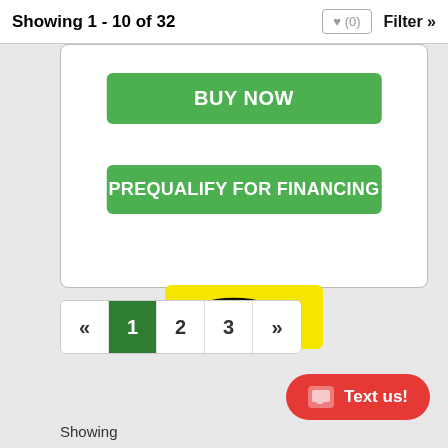Showing 1 - 10 of 32   ♥ (0)   Filter »
[Figure (screenshot): White card area with BUY NOW green button, PREQUALIFY FOR FINANCING green button, and a Virtual Tour yellow badge]
BUY NOW
PREQUALIFY FOR FINANCING
[Figure (logo): Virtual Tour badge: yellow background with 'virtual TOUR' text and arrow icon]
«
1
2
3
»
Text us!
Showing